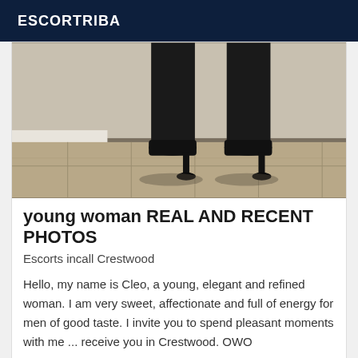ESCORTRIBA
[Figure (photo): Photo showing legs of a woman wearing black high heel shoes/boots standing on a tiled floor]
young woman REAL AND RECENT PHOTOS
Escorts incall Crestwood
Hello, my name is Cleo, a young, elegant and refined woman. I am very sweet, affectionate and full of energy for men of good taste. I invite you to spend pleasant moments with me ... receive you in Crestwood. OWO
Online